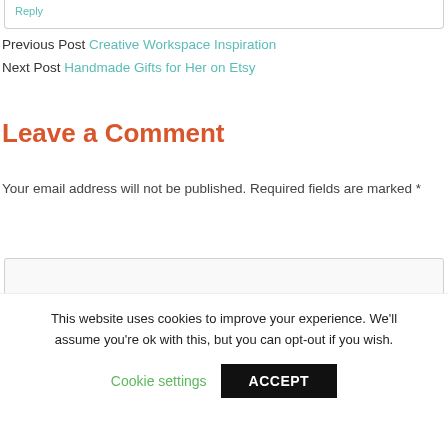Reply
Previous Post Creative Workspace Inspiration
Next Post Handmade Gifts for Her on Etsy
Leave a Comment
Your email address will not be published. Required fields are marked *
This website uses cookies to improve your experience. We'll assume you're ok with this, but you can opt-out if you wish.
Cookie settings
ACCEPT